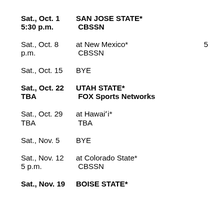Sat., Oct. 1    SAN JOSE STATE*
5:30 p.m.    CBSSN
Sat., Oct. 8    at New Mexico*    5
p.m.    CBSSN
Sat., Oct. 15    BYE
Sat., Oct. 22    UTAH STATE*
TBA    FOX Sports Networks
Sat., Oct. 29    at Hawai'i*
TBA    TBA
Sat., Nov. 5    BYE
Sat., Nov. 12    at Colorado State*
5 p.m.    CBSSN
Sat., Nov. 19    BOISE STATE*